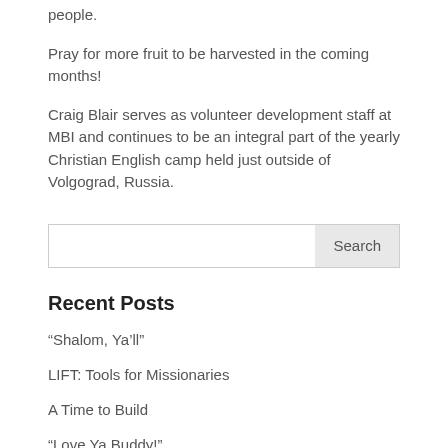people.
Pray for more fruit to be harvested in the coming months!
Craig Blair serves as volunteer development staff at MBI and continues to be an integral part of the yearly Christian English camp held just outside of Volgograd, Russia.
Recent Posts
“Shalom, Ya’ll”
LIFT: Tools for Missionaries
A Time to Build
“Love Ya Buddy!”